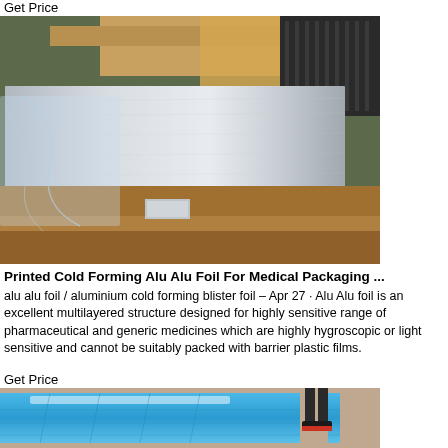Get Price
[Figure (photo): Aluminum foil sheets stacked in a warehouse, partially wrapped in plastic and brown paper packaging]
Printed Cold Forming Alu Alu Foil For Medical Packaging ...
alu alu foil / aluminium cold forming blister foil – Apr 27 · Alu Alu foil is an excellent multilayered structure designed for highly sensitive range of pharmaceutical and generic medicines which are highly hygroscopic or light sensitive and cannot be suitably packed with barrier plastic films.
Get Price
[Figure (photo): Blue aluminum foil sheet laid flat on a warehouse floor with a person standing nearby wearing red and black sneakers]